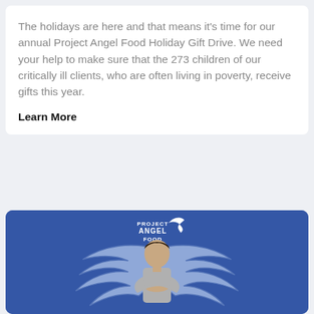The holidays are here and that means it's time for our annual Project Angel Food Holiday Gift Drive. We need your help to make sure that the 273 children of our critically ill clients, who are often living in poverty, receive gifts this year.
Learn More
[Figure (illustration): Project Angel Food promotional image on a blue background showing a smiling man in a grey t-shirt with large illustrated angel wings behind him. The Project Angel Food logo with a white bird is shown at the top.]